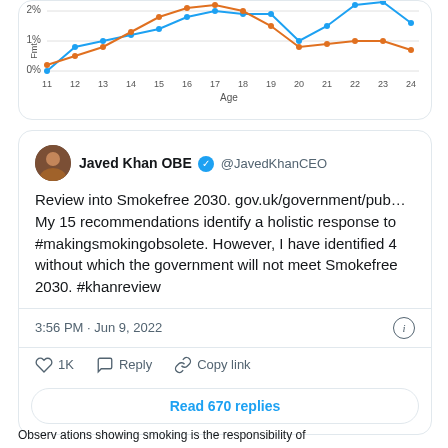[Figure (line-chart): Age vs smoking rate]
Javed Khan OBE @JavedKhanCEO
Review into Smokefree 2030. gov.uk/government/pub… My 15 recommendations identify a holistic response to #makingsmokingobsolete. However, I have identified 4 without which the government will not meet Smokefree 2030. #khanreview
3:56 PM · Jun 9, 2022
1K  Reply  Copy link
Read 670 replies
Observ ations showing smoking is the responsibility of